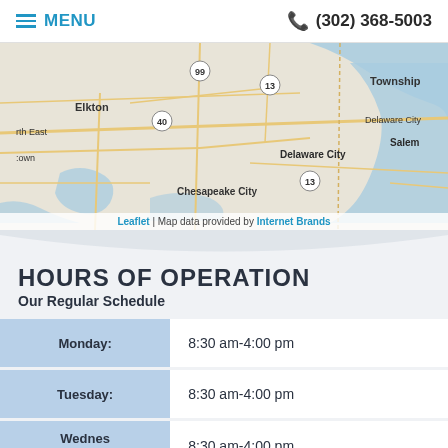MENU | (302) 368-5003
[Figure (map): Street map showing Delaware and Maryland area including Elkton, Delaware City, Chesapeake City, North East, Salem, Township areas with roads and waterways. Map credited to Leaflet and Internet Brands.]
HOURS OF OPERATION
Our Regular Schedule
| Day | Hours |
| --- | --- |
| Monday: | 8:30 am-4:00 pm |
| Tuesday: | 8:30 am-4:00 pm |
| Wednesday: | 8:30 am-4:00 pm |